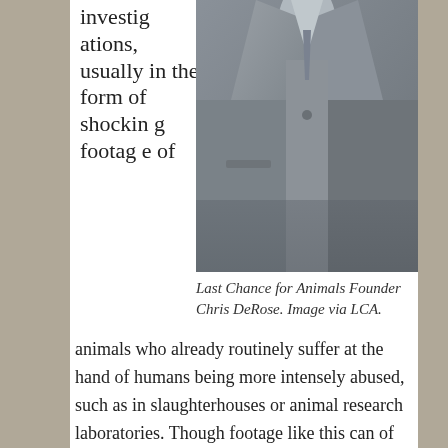investigations, usually in the form of shocking footage of
[Figure (photo): A man in a grey suit photographed from chest level, torso visible. The image is a close-up showing the jacket lapels and tie area.]
Last Chance for Animals Founder Chris DeRose. Image via LCA.
animals who already routinely suffer at the hand of humans being more intensely abused, such as in slaughterhouses or animal research laboratories. Though footage like this can of course be difficult to watch, collecting it is a powerful tool in our movement's toolkit and has led to concrete change many times.